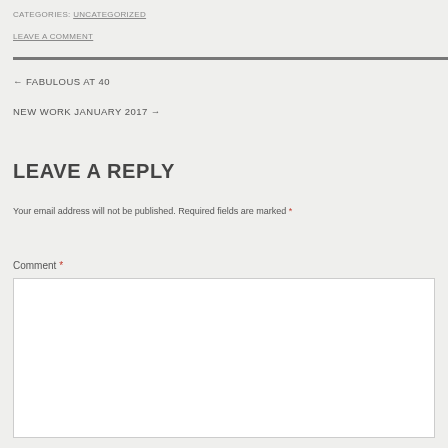CATEGORIES: UNCATEGORIZED
LEAVE A COMMENT
← FABULOUS AT 40
NEW WORK JANUARY 2017 →
LEAVE A REPLY
Your email address will not be published. Required fields are marked *
Comment *